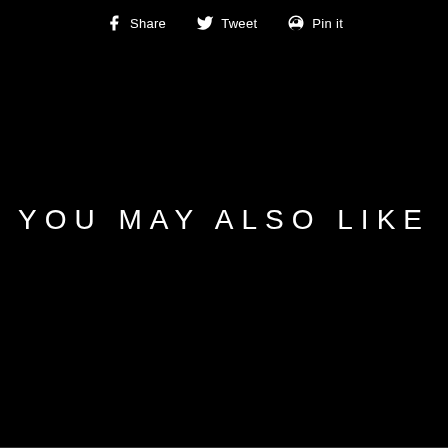Share  Tweet  Pin it
YOU MAY ALSO LIKE